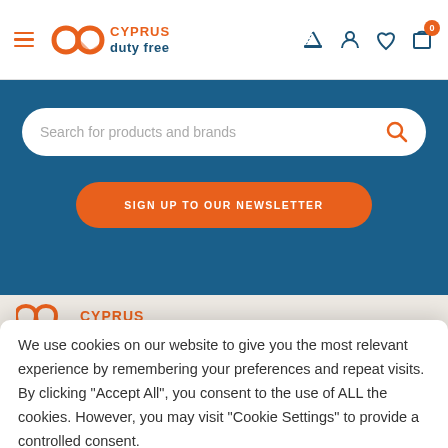[Figure (logo): Cyprus Duty Free logo with orange infinity symbol and teal text]
Search for products and brands
SIGN UP TO OUR NEWSLETTER
We use cookies on our website to give you the most relevant experience by remembering your preferences and repeat visits. By clicking “Accept All”, you consent to the use of ALL the cookies. However, you may visit "Cookie Settings" to provide a controlled consent.
Cookie settings
Accept All